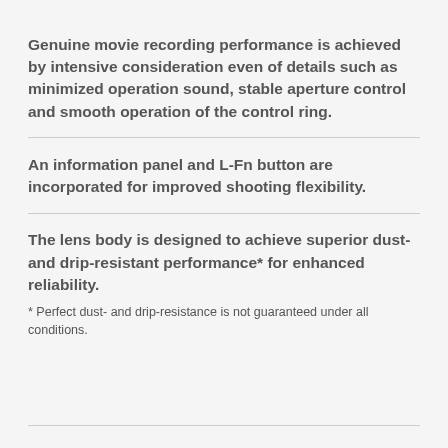Genuine movie recording performance is achieved by intensive consideration even of details such as minimized operation sound, stable aperture control and smooth operation of the control ring.
An information panel and L-Fn button are incorporated for improved shooting flexibility.
The lens body is designed to achieve superior dust- and drip-resistant performance* for enhanced reliability.
* Perfect dust- and drip-resistance is not guaranteed under all conditions.